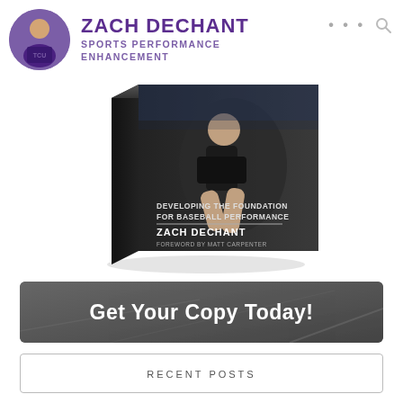[Figure (logo): Zach Dechant Sports Performance Enhancement profile header with avatar photo, name, subtitle, and navigation icons (ellipsis and search)]
[Figure (photo): 3D book cover for 'Developing the Foundation for Baseball Performance' by Zach Dechant, foreword by Matt Carpenter, showing an athlete stretching on the cover]
[Figure (other): Dark textured banner button with white bold text: 'Get Your Copy Today!']
RECENT POSTS